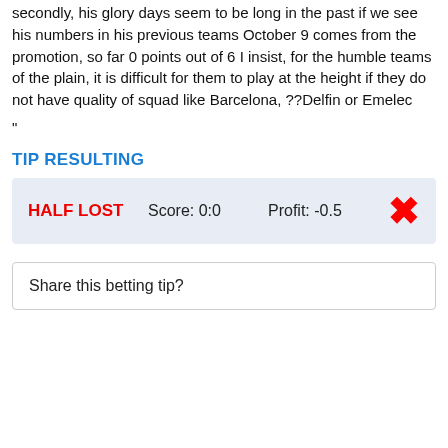secondly, his glory days seem to be long in the past if we see his numbers in his previous teams October 9 comes from the promotion, so far 0 points out of 6 I insist, for the humble teams of the plain, it is difficult for them to play at the height if they do not have quality of squad like Barcelona, ??Delfin or Emelec
"
TIP RESULTING
| Status | Score | Profit |  |
| --- | --- | --- | --- |
| HALF LOST | Score: 0:0 | Profit: -0.5 | ✗ |
Share this betting tip?